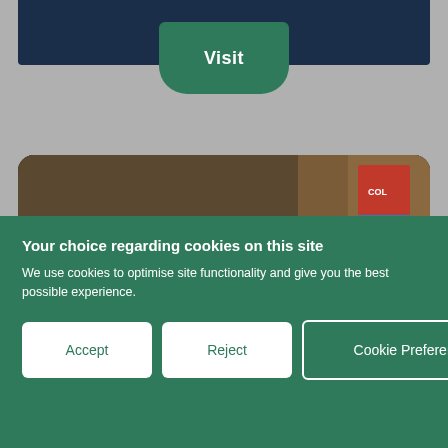[Figure (screenshot): School website screenshot showing a 'Visit' button on a dark navy navigation bar, followed by a photo of a young girl holding a book in a classroom, with a 'Welcome' heading below the photo on a dark navy bar.]
Visit
Welcome
Your choice regarding cookies on this site
We use cookies to optimise site functionality and give you the best possible experience.
Accept
Reject
Cookie Preferences
×